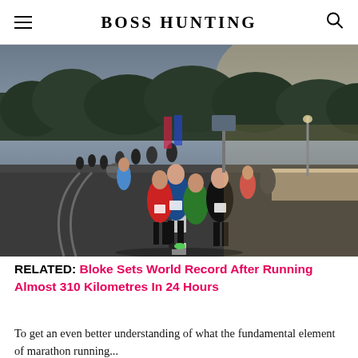BOSS HUNTING
[Figure (photo): Group of male runners competing in a road race, running on a wide road at dusk/dawn with trees and urban infrastructure in the background. Front runners wear race bibs and athletic singlets.]
RELATED: Bloke Sets World Record After Running Almost 310 Kilometres In 24 Hours
To get an even better understanding of what the fundamental element of marathon running...